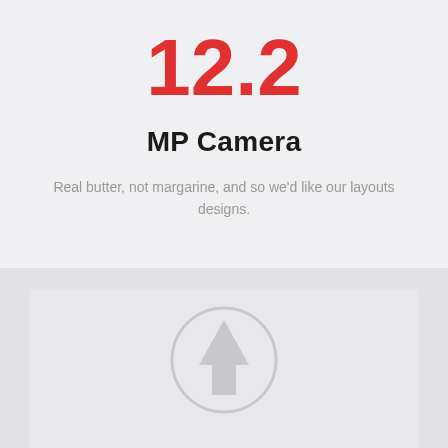12.2
MP Camera
Real butter, not margarine, and so we'd like our layouts designs.
[Figure (illustration): A circular icon with a tree/arrow shape inside, rendered in light gray, centered in a gray banner section at the bottom of the page.]